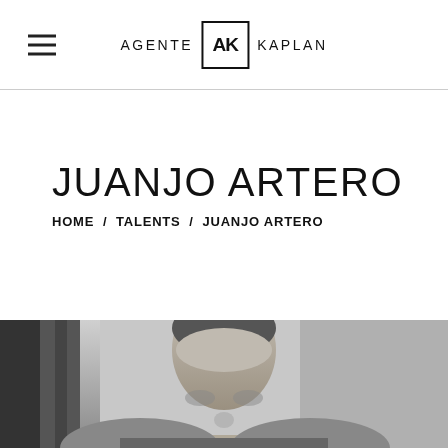AGENTE AK KAPLAN
JUANJO ARTERO
HOME / TALENTS / JUANJO ARTERO
[Figure (photo): Black and white photo of a man (Juanjo Artero) from the shoulders up, partially visible at bottom of page, with ropes visible in background]